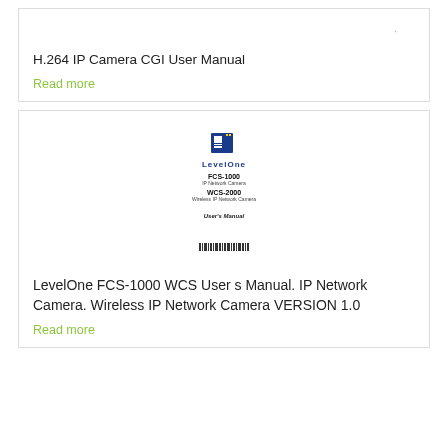[Figure (other): Small dot/period decoration at top of first card]
H.264 IP Camera CGI User Manual
Read more
[Figure (other): LevelOne FCS-1000 WCS-2000 User Manual document cover page thumbnail showing LevelOne logo, model numbers FCS-1000 IP Network Camera and WCS-2000 Wireless IP Network Camera, User's Manual text, and barcode]
LevelOne FCS-1000 WCS User s Manual. IP Network Camera. Wireless IP Network Camera VERSION 1.0
Read more